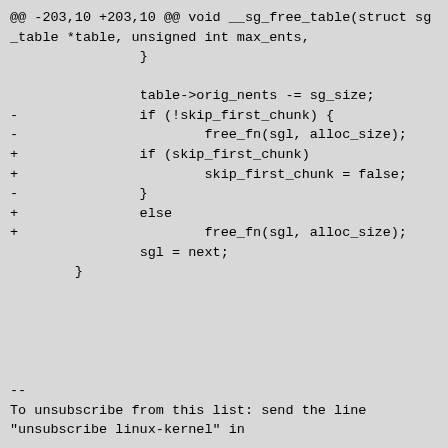[Figure (screenshot): A code diff screenshot showing changes to the __sg_free_table function in a Linux kernel patch, followed by an unsubscribe footer line. The diff shows removal of a conditional block checking !skip_first_chunk and addition of a new block using skip_first_chunk with an else clause for free_fn.]
--
To unsubscribe from this list: send the line "unsubscribe linux-kernel" in